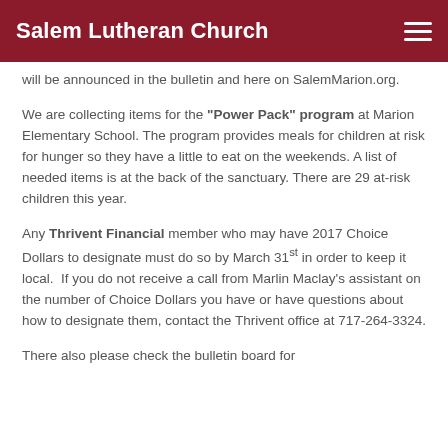Salem Lutheran Church
will be announced in the bulletin and here on SalemMarion.org.
We are collecting items for the “Power Pack” program at Marion Elementary School. The program provides meals for children at risk for hunger so they have a little to eat on the weekends. A list of needed items is at the back of the sanctuary. There are 29 at-risk children this year.
Any Thrivent Financial member who may have 2017 Choice Dollars to designate must do so by March 31st in order to keep it local. If you do not receive a call from Marlin Maclay’s assistant on the number of Choice Dollars you have or have questions about how to designate them, contact the Thrivent office at 717-264-3324.
There also please check the bulletin board for...